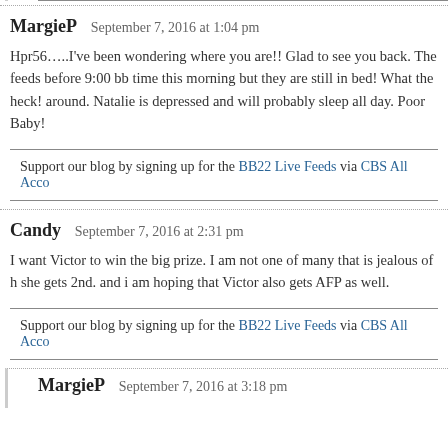-----------------------------------------------------------------------------------------------------------
MargieP   September 7, 2016 at 1:04 pm
Hpr56…..I've been wondering where you are!! Glad to see you back. The feeds before 9:00 bb time this morning but they are still in bed! What the heck! around. Natalie is depressed and will probably sleep all day. Poor Baby!
-----------------------------------------------------------------------------------------------------------
Support our blog by signing up for the BB22 Live Feeds via CBS All Acco
-----------------------------------------------------------------------------------------------------------
Candy   September 7, 2016 at 2:31 pm
I want Victor to win the big prize. I am not one of many that is jealous of h she gets 2nd. and i am hoping that Victor also gets AFP as well.
-----------------------------------------------------------------------------------------------------------
Support our blog by signing up for the BB22 Live Feeds via CBS All Acco
-----------------------------------------------------------------------------------------------------------
MargieP   September 7, 2016 at 3:18 pm